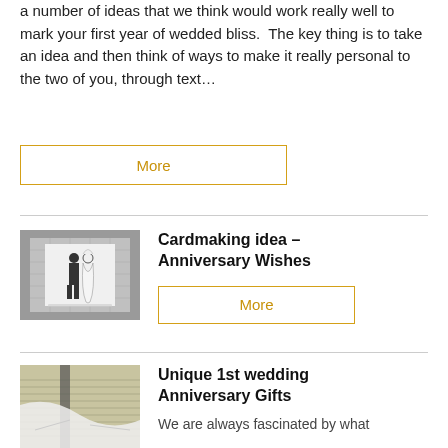a number of ideas that we think would work really well to mark your first year of wedded bliss.  The key thing is to take an idea and then think of ways to make it really personal to the two of you, through text…
More
Cardmaking idea – Anniversary Wishes
[Figure (photo): Black and white card with a silhouette illustration of a bride and groom]
More
Unique 1st wedding Anniversary Gifts
[Figure (photo): Close-up of hands or papers with a white fabric, possibly related to wedding or anniversary gifts]
We are always fascinated by what